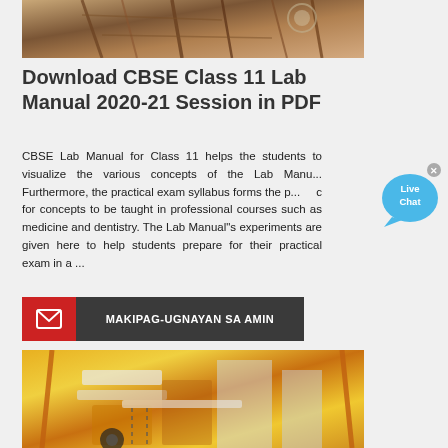[Figure (photo): Construction site photo showing scaffolding and machinery in beige/brown tones]
Download CBSE Class 11 Lab Manual 2020-21 Session in PDF
CBSE Lab Manual for Class 11 helps the students to visualize the various concepts of the Lab Manual. Furthermore, the practical exam syllabus forms the p... c for concepts to be taught in professional courses such as medicine and dentistry. The Lab Manual"s experiments are given here to help students prepare for their practical exam in a ...
[Figure (infographic): Live Chat bubble icon overlaid on page]
[Figure (other): Contact button: red icon area with envelope and dark gray area with text MAKIPAG-UGNAYAN SA AMIN]
[Figure (photo): Construction equipment photo showing yellow cranes and machinery at a building site]